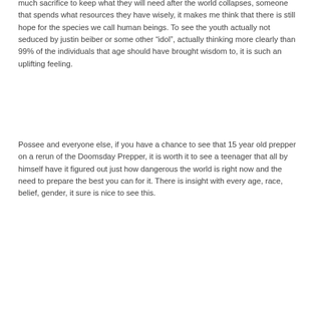much sacrifice to keep what they will need after the world collapses, someone that spends what resources they have wisely, it makes me think that there is still hope for the species we call human beings.  To see the youth actually not seduced by justin beiber or some other “idol”, actually thinking more clearly than 99% of the individuals that age should have brought wisdom to, it is such an uplifting feeling.
Possee and everyone else, if you have a chance to see that 15 year old prepper on a rerun of the Doomsday Prepper, it is worth it to see a teenager that all by himself have it figured out just how dangerous the world is right now and the need to prepare the best you can for it.  There is insight with every age, race, belief, gender, it sure is nice to see this.